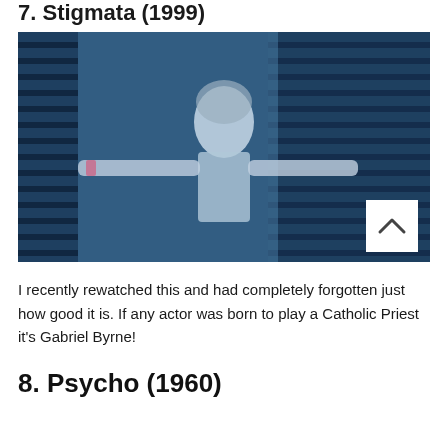7. Stigmata (1999)
[Figure (photo): A woman with arms outstretched, appearing distressed, in a blue-tinted cinematic scene with venetian blinds in the background. A scroll-up arrow button appears in the bottom right corner.]
I recently rewatched this and had completely forgotten just how good it is. If any actor was born to play a Catholic Priest it's Gabriel Byrne!
8. Psycho (1960)